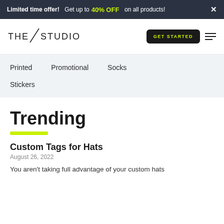Limited time offer! Get up to 40% OFF on all products! ×
[Figure (logo): THE STUDIO logo with a diagonal slash between THE and STUDIO]
GET STARTED
Printed
Promotional
Socks
Stickers
Trending
Custom Tags for Hats
August 26, 2022
You aren't taking full advantage of your custom hats